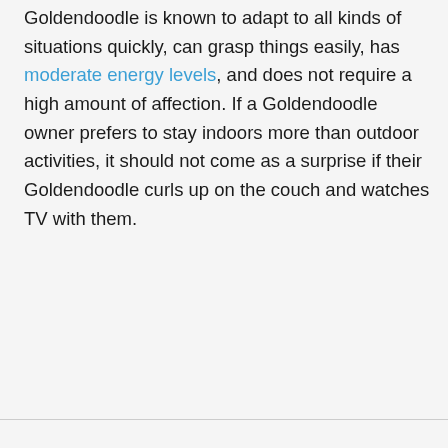Goldendoodle is known to adapt to all kinds of situations quickly, can grasp things easily, has moderate energy levels, and does not require a high amount of affection. If a Goldendoodle owner prefers to stay indoors more than outdoor activities, it should not come as a surprise if their Goldendoodle curls up on the couch and watches TV with them.